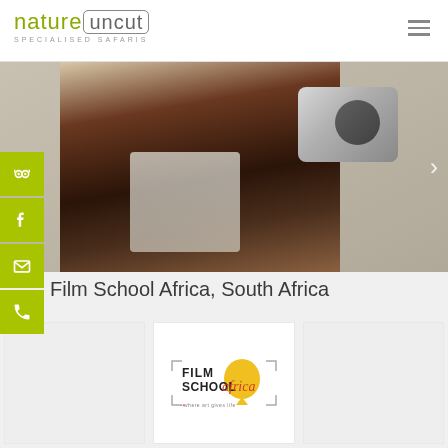[Figure (logo): Nature Uncut Specialised Safaris logo - green 'nature' text with 'uncut' in a rounded rectangle, subtitle 'SPECIALISED SAFARIS']
[Figure (photo): A young African child holding a camera up to take a photo, wearing school uniform]
Film School Africa, South Africa
[Figure (logo): Film School Africa logo - stylized text with Africa continent shape in yellow, tagline 'where art gives life']